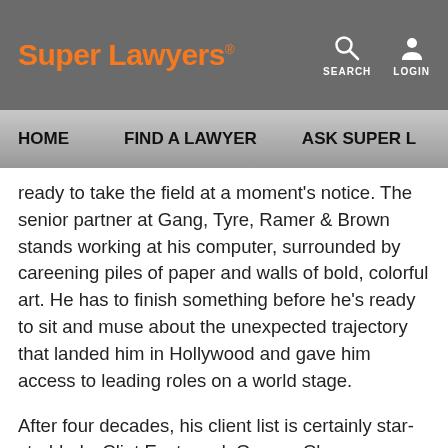Super Lawyers
HOME   FIND A LAWYER   ASK SUPER L...
ready to take the field at a moment's notice. The senior partner at Gang, Tyre, Ramer & Brown stands working at his computer, surrounded by careening piles of paper and walls of bold, colorful art. He has to finish something before he's ready to sit and muse about the unexpected trajectory that landed him in Hollywood and gave him access to leading roles on a world stage.
After four decades, his client list is certainly star-studded—Clint Eastwood, George Clooney, Robert Zemeckis, Milos Forman—but it wasn't star gazing that brought him here. And while he has been called an “elite deal maker,” Ramer hardly confines his performance to tending the rich and famous. As national president of the American Jewish